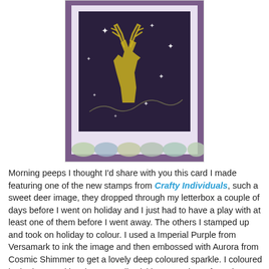[Figure (photo): A crafted greeting card featuring a deer/stag image stamped in purple with star and floral details on a dark background, mounted on a purple card base with decorative scalloped border at the bottom.]
Morning peeps I thought I'd share with you this card I made featuring one of the new stamps from Crafty Individuals, such a sweet deer image, they dropped through my letterbox a couple of days before I went on holiday and I just had to have a play with at least one of them before I went away. The others I stamped up and took on holiday to colour. I used a Imperial Purple from Versamark to ink the image and then embossed with Aurora from Cosmic Shimmer to get a lovely deep coloured sparkle. I coloured in the image with Prisma pencils picking out colours from the Christmas background paper which is also from Crafty Individuals. The snowflake is done using Frantage powders, glitter and flakes and is topped off with a bow using the delish crinkled seam